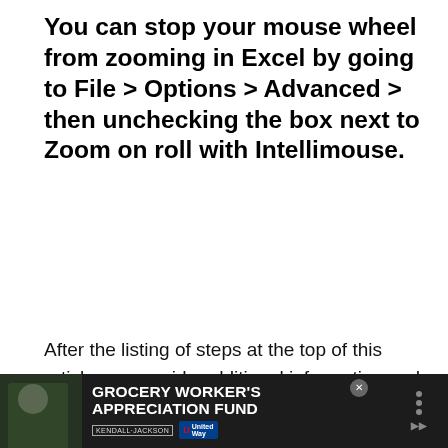You can stop your mouse wheel from zooming in Excel by going to File > Options > Advanced > then unchecking the box next to Zoom on roll with Intellimouse.
After the listing of steps at the top of this article, we provide additional information and pictures for the steps further down.
When you use Excel a lot, you become accustomed to performing certain actions repeatedly. Using the various keyboard shortcuts and actions that the program offers can really help to expedite the process of cr...
[Figure (infographic): Ad banner at bottom: dark background with grocery worker photo, text 'GROCERY WORKER'S APPRECIATION FUND', Kendall Jackson and United Way logos, close button]